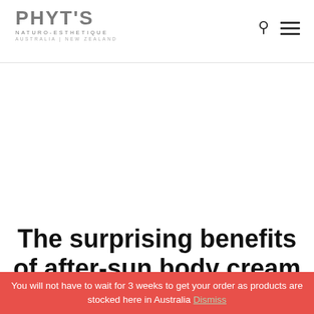PHYT'S NATURO-ESTHETIQUE AUSTRALIA | NEW ZEALAND
The surprising benefits of after-sun body cream
You will not have to wait for 3 weeks to get your order as products are stocked here in Australia Dismiss